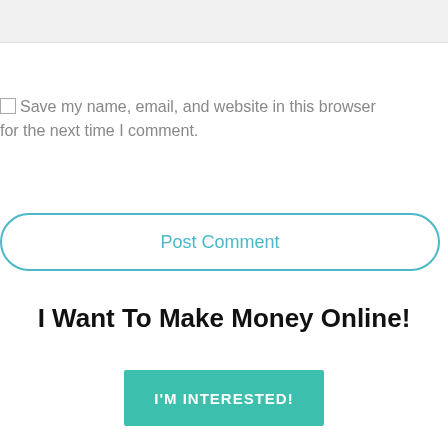[Figure (screenshot): Gray top bar area, likely a form input field cropped at top]
Save my name, email, and website in this browser for the next time I comment.
Post Comment
I Want To Make Money Online!
I'M INTERESTED!